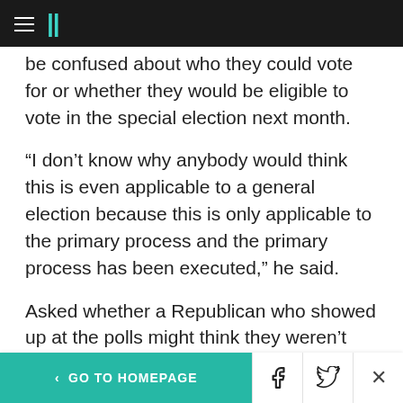HuffPost navigation header
be confused about who they could vote for or whether they would be eligible to vote in the special election next month.
“I don’t know why anybody would think this is even applicable to a general election because this is only applicable to the primary process and the primary process has been executed,” he said.
Asked whether a Republican who showed up at the polls might think they weren’t allowed to vote for a Democrat, Merrill said, “That doesn’t confuse me, and I don’t know why it would
< GO TO HOMEPAGE | Facebook share | Twitter share | Close